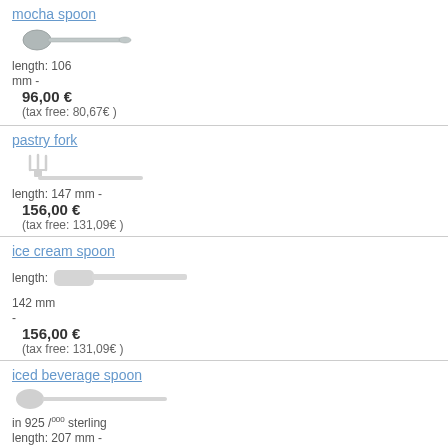mocha spoon
length: 106 mm -
96,00 €
(tax free: 80,67€ )
pastry fork
length: 147 mm -
156,00 €
(tax free: 131,09€ )
ice cream spoon
length: 142 mm -
156,00 €
(tax free: 131,09€ )
iced beverage spoon
in 925 /000 sterling
length: 207 mm -
281,00 €
(tax free: 236,13€ )
bouillon / cream spoon
Grand Ribbon length: 153 mm -
250,00 €
(tax free: 210,08€ )
gourmet spoon
281,00 €
(tax free: 236,13€ )